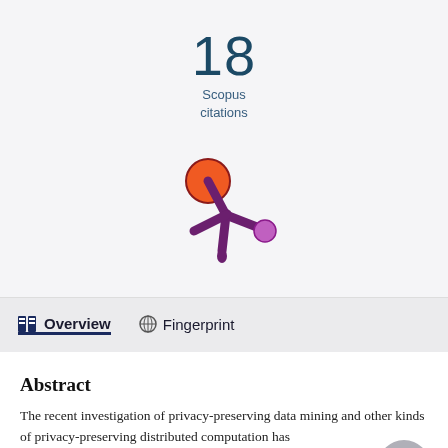18
Scopus
citations
[Figure (logo): Scopus/Pure snowflake-like logo with orange and purple circles connected by purple spokes]
Overview
Fingerprint
Abstract
The recent investigation of privacy-preserving data mining and other kinds of privacy-preserving distributed computation has